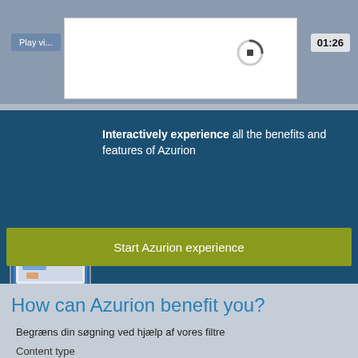[Figure (screenshot): Video player thumbnail showing partial 'Play vi...' button on left, a white loading/dialog overlay in center with spinner, and '01:26' timestamp badge on right, over a gray background with blurred device images]
[Figure (screenshot): Monitor/desktop screen showing Azurion room interface illustration, displayed on dark blue background]
Interactively experience all the benefits and features of Azurion
Start Azurion experience
How can Azurion benefit you?
Begræns din søgning ved hjælp af vores filtre
Content type